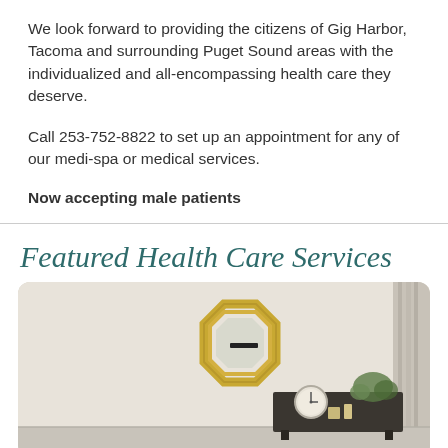We look forward to providing the citizens of Gig Harbor, Tacoma and surrounding Puget Sound areas with the individualized and all-encompassing health care they deserve.
Call 253-752-8822 to set up an appointment for any of our medi-spa or medical services.
Now accepting male patients
Featured Health Care Services
[Figure (photo): Interior photo of a medical spa room with a white wall, a geometric gold octagonal mirror, a small round clock, green plant, and dark cabinet in the background.]